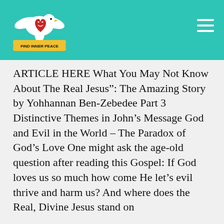[Figure (logo): Find Inner Peace logo: a white dove with a red heart character, and a yellow banner reading FIND INNER PEACE]
ARTICLE HERE What You May Not Know About The Real Jesus”: The Amazing Story by Yohhannan Ben-Zebedee Part 3 Distinctive Themes in John’s Message God and Evil in the World – The Paradox of God’s Love One might ask the age-old question after reading this Gospel: If God loves us so much how come He let’s evil thrive and harm us? And where does the Real, Divine Jesus stand on